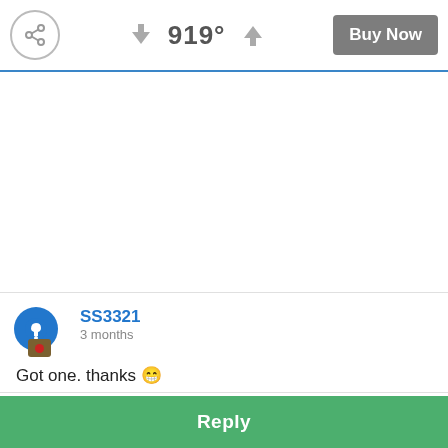919° Buy Now
SS3321
3 months
Got one. thanks 😁
Mr.Blackhearted
3 months
Reply